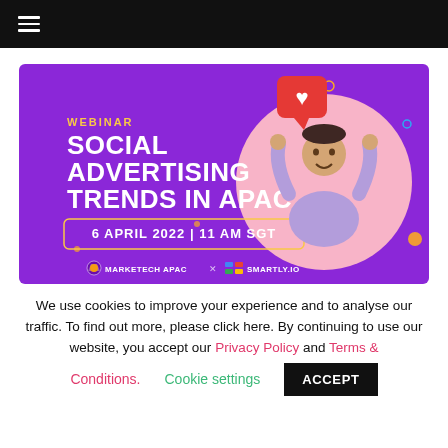☰ (hamburger menu)
[Figure (illustration): Webinar promotional banner with purple background. Text reads: WEBINAR / SOCIAL ADVERTISING TRENDS IN APAC / 6 APRIL 2022 | 11 AM SGT. Logos of MARKETECH APAC x SMARTLY.IO at bottom. Image of a young man with hands raised holding a red heart speech bubble, set against a pink circle on the right.]
We use cookies to improve your experience and to analyse our traffic. To find out more, please click here. By continuing to use our website, you accept our Privacy Policy and Terms & Conditions.
Cookie settings
ACCEPT